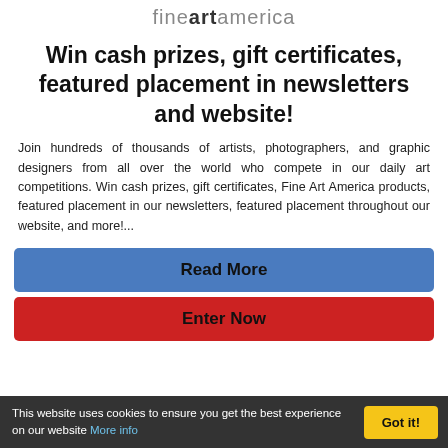[Figure (logo): Fine Art America logo: 'fine' in light gray, 'art' in bold dark, 'america' in light gray]
Win cash prizes, gift certificates, featured placement in newsletters and website!
Join hundreds of thousands of artists, photographers, and graphic designers from all over the world who compete in our daily art competitions. Win cash prizes, gift certificates, Fine Art America products, featured placement in our newsletters, featured placement throughout our website, and more!...
Read More
Enter Now
This website uses cookies to ensure you get the best experience on our website More info
Got it!